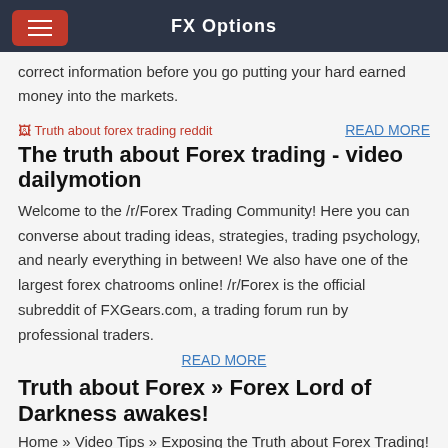FX Options
correct information before you go putting your hard earned money into the markets.
[Figure (illustration): Broken image placeholder labeled 'Truth about forex trading reddit']
READ MORE
The truth about Forex trading - video dailymotion
Welcome to the /r/Forex Trading Community! Here you can converse about trading ideas, strategies, trading psychology, and nearly everything in between! We also have one of the largest forex chatrooms online! /r/Forex is the official subreddit of FXGears.com, a trading forum run by professional traders.
READ MORE
Truth about Forex » Forex Lord of Darkness awakes!
Home » Video Tips » Exposing the Truth about Forex Trading! Video